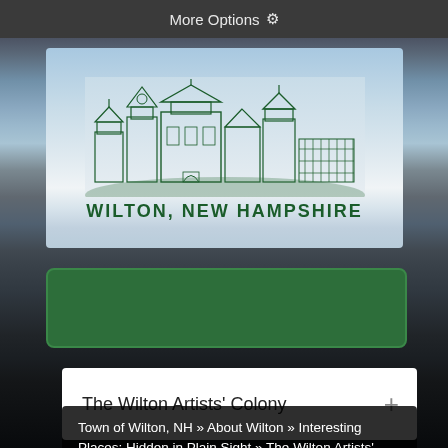More Options ⚙
[Figure (logo): Wilton, New Hampshire town logo showing buildings/skyline illustration with text WILTON, NEW HAMPSHIRE]
[Figure (other): Green navigation/search bar]
The Wilton Artists' Colony
Town of Wilton, NH » About Wilton » Interesting Places: Hidden in Plain Sight » The Wilton Artists' Colony